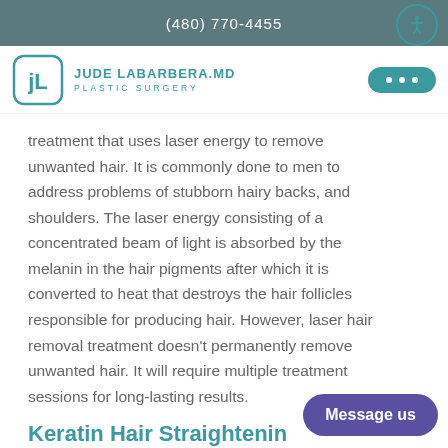(480) 770-4455
[Figure (logo): Jude LaBarbera MD Plastic Surgery logo with JL monogram in teal circle]
treatment that uses laser energy to remove unwanted hair. It is commonly done to men to address problems of stubborn hairy backs, and shoulders. The laser energy consisting of a concentrated beam of light is absorbed by the melanin in the hair pigments after which it is converted to heat that destroys the hair follicles responsible for producing hair. However, laser hair removal treatment doesn't permanently remove unwanted hair. It will require multiple treatment sessions for long-lasting results.
Keratin Hair Straightening
Keratin hair straightening is a non-invasive